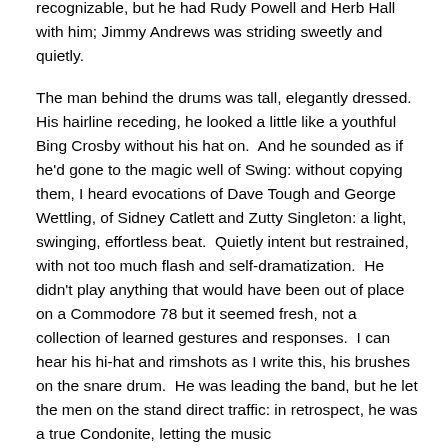recognizable, but he had Rudy Powell and Herb Hall with him; Jimmy Andrews was striding sweetly and quietly.
The man behind the drums was tall, elegantly dressed. His hairline receding, he looked a little like a youthful Bing Crosby without his hat on. And he sounded as if he'd gone to the magic well of Swing: without copying them, I heard evocations of Dave Tough and George Wettling, of Sidney Catlett and Zutty Singleton: a light, swinging, effortless beat. Quietly intent but restrained, with not too much flash and self-dramatization. He didn't play anything that would have been out of place on a Commodore 78 but it seemed fresh, not a collection of learned gestures and responses. I can hear his hi-hat and rimshots as I write this, his brushes on the snare drum. He was leading the band, but he let the men on the stand direct traffic: in retrospect, he was a true Condonite, letting the music